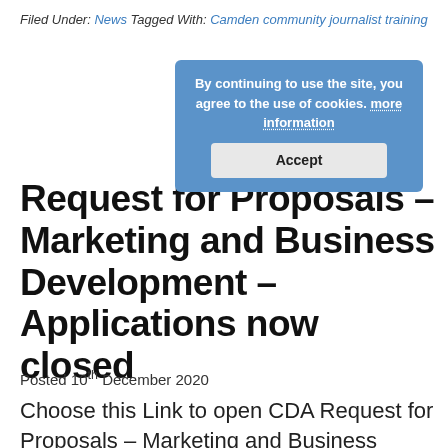Filed Under: News Tagged With: Camden community journalist training
[Figure (screenshot): Cookie consent banner with blue background reading 'By continuing to use the site, you agree to the use of cookies. more information' and an Accept button]
Request for Proposals – Marketing and Business Development – Applications now closed
Posted 10th December 2020
Choose this Link to open CDA Request for Proposals – Marketing and Business Development PDF To ApplyPlease send a proposal which must at least include the